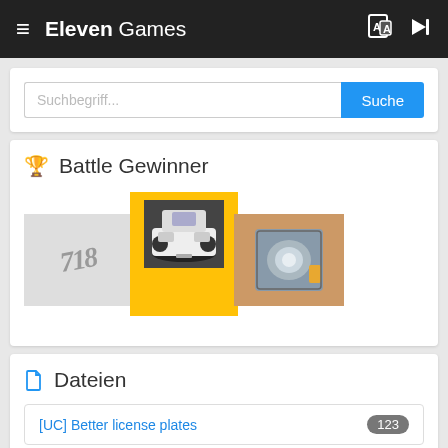Eleven Games
[Figure (screenshot): Search bar with text field showing 'Suchbegriff...' placeholder and blue 'Suche' button]
Battle Gewinner
[Figure (photo): Three game/car images in a row: left gray card with '718' text, center yellow card with white car front view, right tan/brown card with car headlight]
Dateien
[UC] Better license plates  123